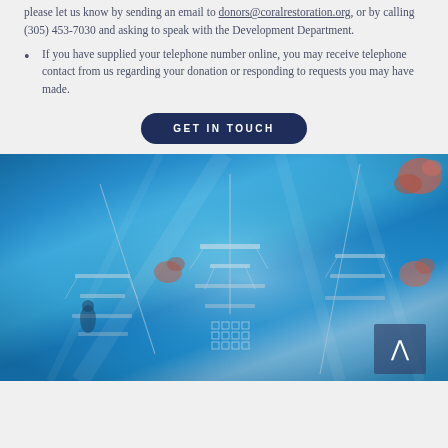please let us know by sending an email to donors@coralrestoration.org, or by calling (305) 453-7030 and asking to speak with the Development Department.
If you have supplied your telephone number online, you may receive telephone contact from us regarding your donation or responding to requests you may have made.
GET IN TOUCH
[Figure (photo): Underwater photograph looking up from below at coral restoration tree structures suspended in clear blue tropical ocean water, with coral fragments attached to lines and frames. A back-to-top arrow button overlay appears in the bottom right corner.]